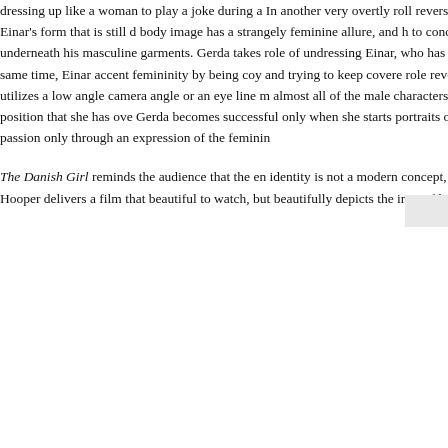dressing up like a woman to play a joke during a... In another very overtly roll reversing scene, Gerda nude and standing over Einar's form that is still d... body image has a strangely feminine allure, and h... to conceal the fact that he is wearing a woman's ... underneath his masculine garments. Gerda takes ... role of undressing Einar, who has clearly begun t... feminine persona. At the same time, Einar accent... femininity by being coy and trying to keep covere... role reversal does not happen only in Einar's pres... utilizes a low angle camera angle or an eye line m... almost all of the male characters that Gerda enco... emphasizing the power position that she has ove... Gerda becomes successful only when she starts ... portraits of Einar as Lili, suggesting that she is ab... passion only through an expression of the femini...
The Danish Girl reminds the audience that the en... identity is not a modern concept, but one that is a... part of human nature. Hooper delivers a film that ... beautiful to watch, but beautifully depicts the inex... of love and human identity.